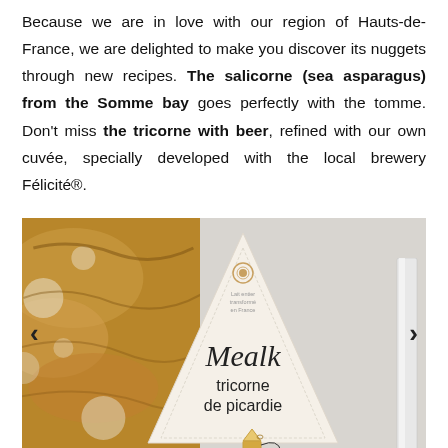Because we are in love with our region of Hauts-de-France, we are delighted to make you discover its nuggets through new recipes. The salicorne (sea asparagus) from the Somme bay goes perfectly with the tomme. Don't miss the tricorne with beer, refined with our own cuvée, specially developed with the local brewery Félicité®.
[Figure (photo): Photo of a triangular cheese package labeled 'Mealk tricorne de picardie', placed next to a rustic baguette bread on the left and a knife on the right, on a grey stone surface. Navigation arrows (< and >) are visible on left and right edges.]